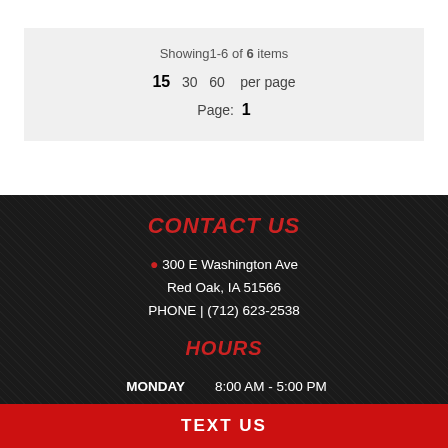Showing 1-6 of 6 items
15  30  60  per page
Page: 1
CONTACT US
300 E Washington Ave
Red Oak, IA 51566
PHONE | (712) 623-2538
HOURS
MONDAY   8:00 AM - 5:00 PM
TUESDAY   8:00 AM - 5:00 PM
TEXT US